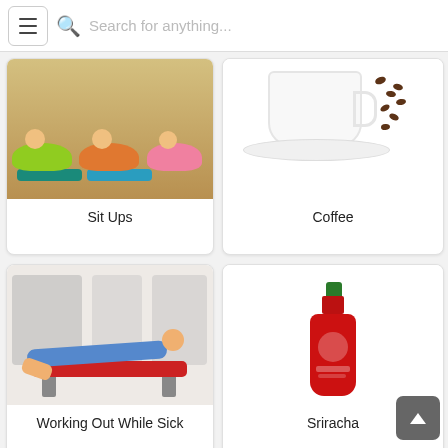Search for anything...
[Figure (photo): People doing sit-ups / crunches on exercise mats in a gym]
Sit Ups
[Figure (photo): A white coffee cup on a saucer surrounded by scattered coffee beans]
Coffee
[Figure (photo): A woman lying slumped over a gym bench as if exhausted or sick]
Working Out While Sick
[Figure (photo): A bottle of Sriracha hot sauce]
Sriracha